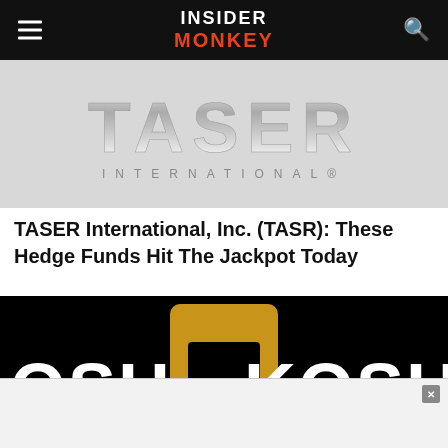INSIDER MONKEY
[Figure (logo): TASER International logo with chrome metallic lettering on light gray background]
TASER International, Inc. (TASR): These Hedge Funds Hit The Jackpot Today
[Figure (logo): Oshkosh Corporation logo with white block letters and gold/yellow bracket symbol on black background, with a white ad overlay panel at the bottom with an X close button]